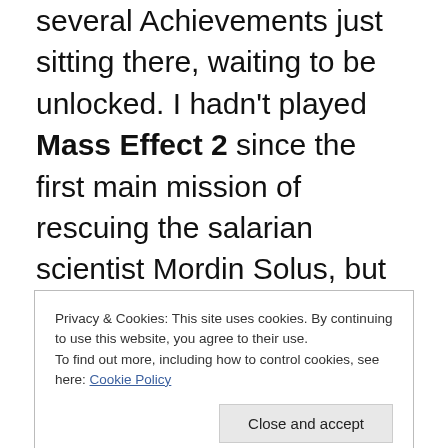several Achievements just sitting there, waiting to be unlocked. I hadn't played Mass Effect 2 since the first main mission of rescuing the salarian scientist Mordin Solus, but had an itch for some dialogue trees and Paragon actions. This spurt of playing included running around the ship like a kid on Christmas morning, getting drunk with the onboard doctor, and rescuing an old friend by the code-name of Archangel. A nice mix of things to do really.
Privacy & Cookies: This site uses cookies. By continuing to use this website, you agree to their use.
To find out more, including how to control cookies, see here: Cookie Policy